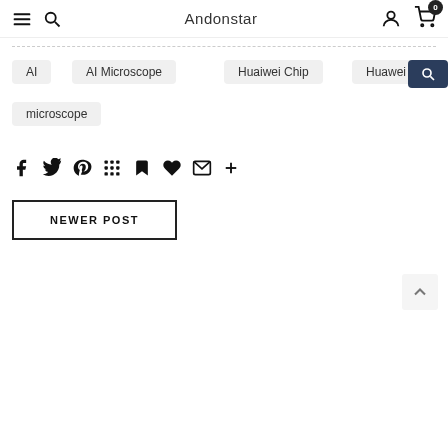Andonstar navigation bar with hamburger, search, brand name, user icon, cart (0)
AI
AI Microscope
Huaiwei Chip
Huawei
microscope
[Figure (infographic): Social sharing icons row: Facebook, Twitter, Pinterest, Grid/apps, Bookmark, Heart, Email, Plus]
NEWER POST